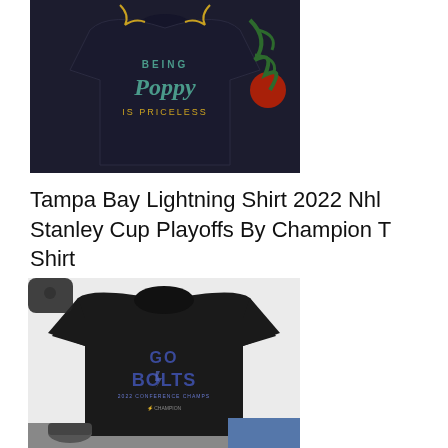[Figure (photo): A dark navy/black long-sleeve shirt laid flat with text 'Being Poppy Is Priceless' in teal and gold script, with a Christmas tree decoration in the background.]
Tampa Bay Lightning Shirt 2022 Nhl Stanley Cup Playoffs By Champion T Shirt
[Figure (photo): A black t-shirt with 'GO BOLTS 2022 Conference Champs' text in blue patterned lettering with the Tampa Bay Lightning logo, displayed on a white background with shoes and other items visible.]